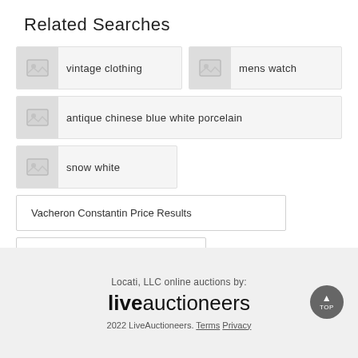Related Searches
vintage clothing
mens watch
antique chinese blue white porcelain
snow white
Vacheron Constantin Price Results
Auctions in California
Locati, LLC online auctions by: liveauctioneers 2022 LiveAuctioneers. Terms Privacy